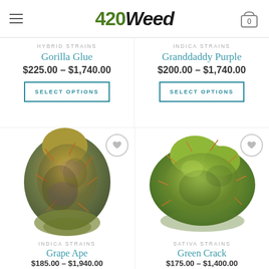[Figure (screenshot): 420Weed e-commerce website header with hamburger menu, logo, and cart icon showing 0 items]
HYBRID STRAINS
Gorilla Glue
$225.00 – $1,740.00
SELECT OPTIONS
INDICA STRAINS
Granddaddy Purple
$200.00 – $1,740.00
SELECT OPTIONS
[Figure (photo): Cannabis bud photo - Grape Ape indica strain, dense golden-green bud with orange hairs]
[Figure (photo): Cannabis bud photo - Green Crack sativa strain, large green bud with orange hairs]
INDICA STRAINS
Grape Ape
$185.00 – $1,940.00
SATIVA STRAINS
Green Crack
$175.00 – $1,400.00